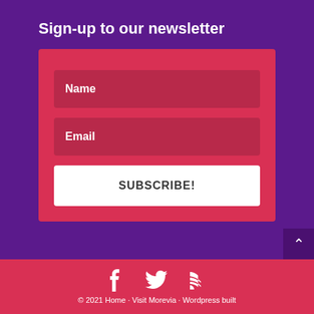Sign-up to our newsletter
[Figure (screenshot): Newsletter sign-up form with Name and Email input fields and a SUBSCRIBE! button on a red background]
[Figure (infographic): Social media icons: Facebook (f), Twitter (bird), RSS feed symbol in white on red footer background]
© 2021 Home · Visit Morevia · Wordpress built